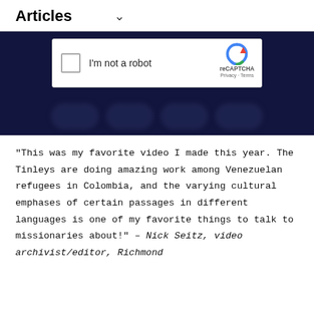Articles
[Figure (screenshot): Dark navy background with a reCAPTCHA widget showing a checkbox labeled 'I'm not a robot' and the reCAPTCHA logo with Privacy and Terms links. Below the widget are blurred button shapes in the dark background.]
“This was my favorite video I made this year. The Tinleys are doing amazing work among Venezuelan refugees in Colombia, and the varying cultural emphases of certain passages in different languages is one of my favorite things to talk to missionaries about!” – Nick Seitz, video archivist/editor, Richmond